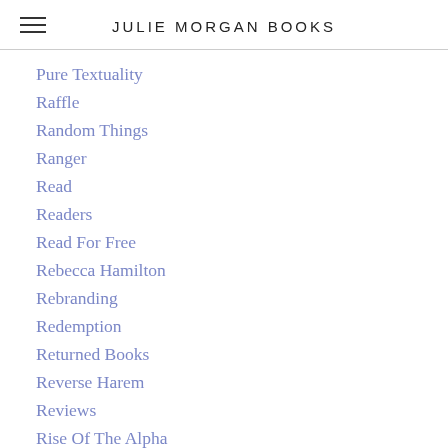JULIE MORGAN BOOKS
Pure Textuality
Raffle
Random Things
Ranger
Read
Readers
Read For Free
Rebecca Hamilton
Rebranding
Redemption
Returned Books
Reverse Harem
Reviews
Rise Of The Alpha
Robyn Peterman
Rock And Roll
Rock And Roll Romance